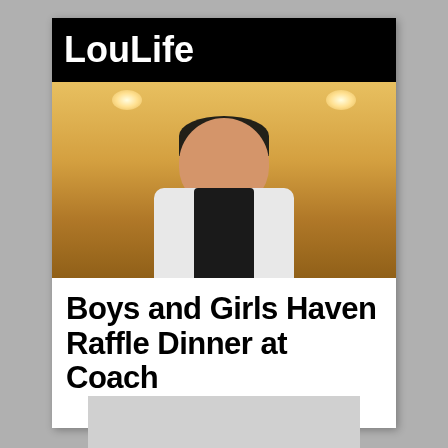LouLife
[Figure (photo): A man in a white shirt and dark apron looking downward, in a kitchen with warm wood cabinets and ceiling lights]
Boys and Girls Haven Raffle Dinner at Coach